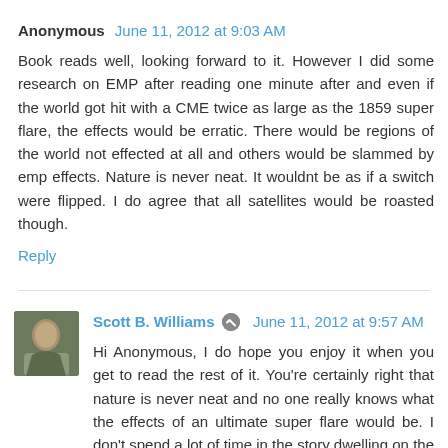Anonymous  June 11, 2012 at 9:03 AM
Book reads well, looking forward to it. However I did some research on EMP after reading one minute after and even if the world got hit with a CME twice as large as the 1859 super flare, the effects would be erratic. There would be regions of the world not effected at all and others would be slammed by emp effects. Nature is never neat. It wouldnt be as if a switch were flipped. I do agree that all satellites would be roasted though.
Reply
Scott B. Williams  June 11, 2012 at 9:57 AM
Hi Anonymous, I do hope you enjoy it when you get to read the rest of it. You're certainly right that nature is never neat and no one really knows what the effects of an ultimate super flare would be. I don't spend a lot of time in the story dwelling on the science of the event. The characters for the most part are left guessing what happened, and are more